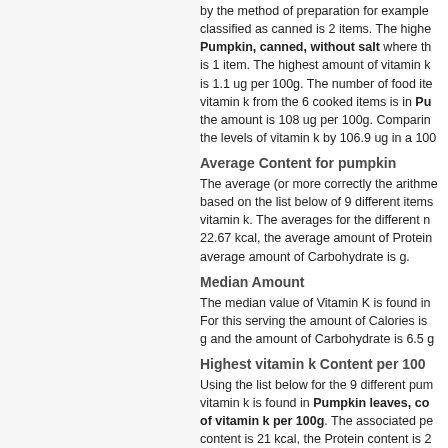by the method of preparation for example classified as canned is 2 items. The highest Pumpkin, canned, without salt where the is 1 item. The highest amount of vitamin k is 1.1 ug per 100g. The number of food items vitamin k from the 6 cooked items is in Pu the amount is 108 ug per 100g. Comparing the levels of vitamin k by 106.9 ug in a 100
Average Content for pumpkin
The average (or more correctly the arithme based on the list below of 9 different items vitamin k. The averages for the different n 22.67 kcal, the average amount of Protein average amount of Carbohydrate is g.
Median Amount
The median value of Vitamin K is found in For this serving the amount of Calories is g and the amount of Carbohydrate is 6.5 g
Highest vitamin k Content per 100
Using the list below for the 9 different pum vitamin k is found in Pumpkin leaves, co of vitamin k per 100g. The associated pe content is 21 kcal, the Protein content is 2 3.39 g.
Pumpkin leaves, cooked, b
www.die
[Figure (bar-chart): Partial bar chart showing vitamin k content, y-axis label visible, value 6 shown]